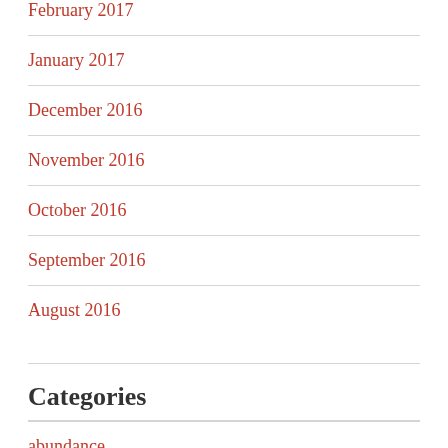February 2017
January 2017
December 2016
November 2016
October 2016
September 2016
August 2016
Categories
abundance